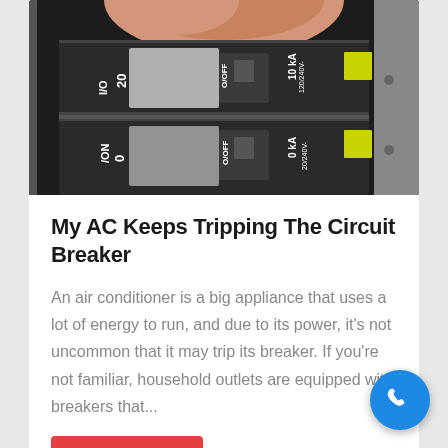[Figure (photo): Close-up photo of electrical circuit breakers in a panel box. Shows two breakers with labels: ON, 20, O/OFF, 10 kA, 120/240V with yellow square stickers. A finger is visible at the top touching one of the breakers.]
My AC Keeps Tripping The Circuit Breaker
An air conditioner is a big appliance that uses a lot of energy to run, and due to its power, it's not uncommon that it may trip its breaker. If you're not familiar, household outlets are equipped with breakers that...
Read more